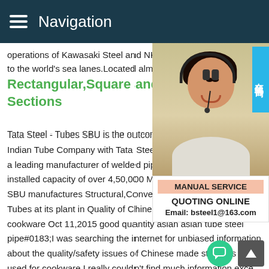Navigation
operations of Kawasaki Steel and NKK we to the world's sea lanes.Located almost in
Rectangular,Square and Circular Sections
Tata Steel - Tubes SBU is the outcome of Indian Tube Company with Tata Steel in 1 a leading manufacturer of welded pipes in installed capacity of over 4,50,000 MT per SBU manufactures Structural,Conveyance Tubes at its plant in Quality of Chinese stainless steel used in cookware Oct 11,2015 good quantity asian asian tube steel pipe#0183;I was searching the internet for unbiased information about the quality/safety issues of Chinese made stainless steel used for cookware.I really couldn't find much information except from people trying to sell something or promote their agenda.P
[Figure (photo): Customer service agent (woman with headset) photo with Chinese consultation badge on the right side, and a service panel below showing MANUAL SERVICE, QUOTING ONLINE, and Email: bsteel1@163.com]